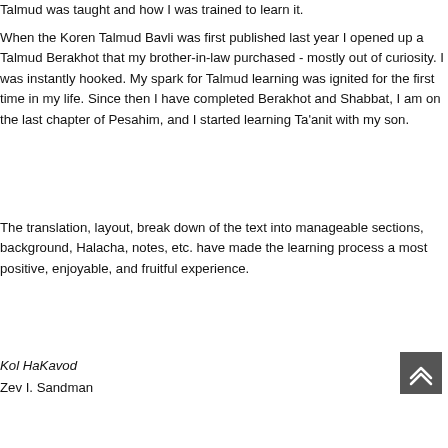Talmud was taught and how I was trained to learn it.
When the Koren Talmud Bavli was first published last year I opened up a Talmud Berakhot that my brother-in-law purchased - mostly out of curiosity. I was instantly hooked. My spark for Talmud learning was ignited for the first time in my life. Since then I have completed Berakhot and Shabbat, I am on the last chapter of Pesahim, and I started learning Ta'anit with my son.
The translation, layout, break down of the text into manageable sections, background, Halacha, notes, etc. have made the learning process a most positive, enjoyable, and fruitful experience.
Kol HaKavod
Zev I. Sandman